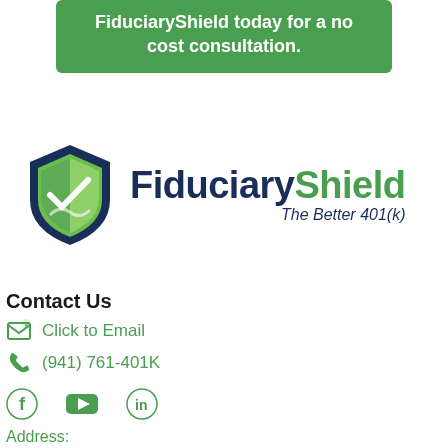FiduciaryShield today for a no cost consultation.
[Figure (logo): FiduciaryShield logo with shield icon and tagline 'The Better 401(k)']
Contact Us
Click to Email
(941) 761-401K
[Figure (other): Social media icons: Facebook, YouTube, LinkedIn]
Address: